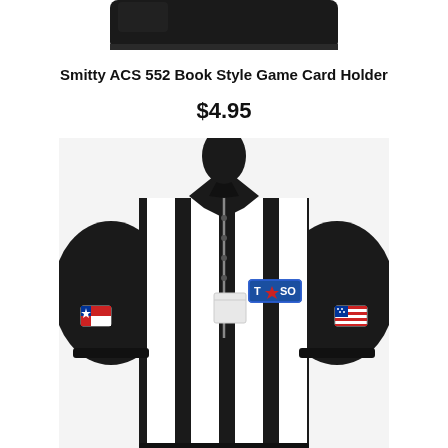[Figure (photo): Top portion of a black product (card holder) shown at top of page, cropped]
Smitty ACS 552 Book Style Game Card Holder
$4.95
[Figure (photo): Black and white striped referee shirt with TASO patch on chest, Texas flag patch on left sleeve, American flag patch on right sleeve, short sleeves, zipper collar]